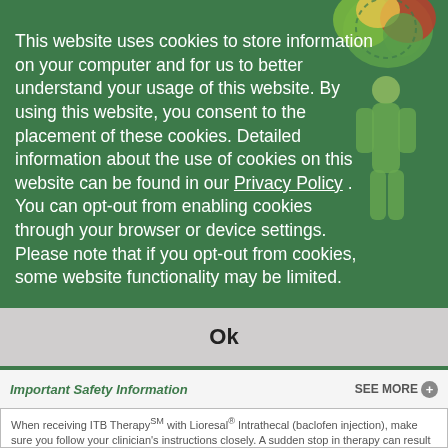[Figure (illustration): Decorative illustration of a figure with a green tree/brain-like structure on top, partially visible in top-right of the page behind a green cookie consent overlay]
This website uses cookies to store information on your computer and for us to better understand your usage of this website. By using this website, you consent to the placement of these cookies. Detailed information about the use of cookies on this website can be found in our Privacy Policy . You can opt-out from enabling cookies through your browser or device settings. Please note that if you opt-out from cookies, some website functionality may be limited.
Ok
Important Safety Information
SEE MORE +
When receiving ITB Therapy℠ with Lioresal® Intrathecal (baclofen injection), make sure you follow your clinician's instructions closely. A sudden stop in therapy can result in serious baclofen withdrawal